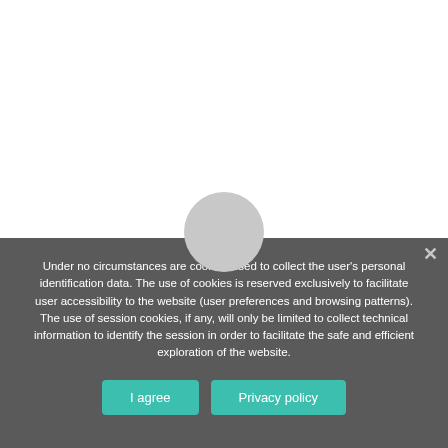[Figure (illustration): White background area with a light gray circle partially visible at the bottom, representing a website screenshot with a cookie consent overlay]
Under no circumstances are cookies used to collect the user's personal identification data. The use of cookies is reserved exclusively to facilitate user accessibility to the website (user preferences and browsing patterns). The use of session cookies, if any, will only be limited to collect technical information to identify the session in order to facilitate the safe and efficient exploration of the website.
I agree
Privacy policy